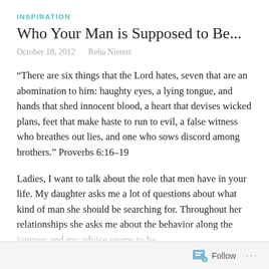INSPIRATION
Who Your Man is Supposed to Be...
October 18, 2012   Reba Nietert
“There are six things that the Lord hates, seven that are an abomination to him: haughty eyes, a lying tongue, and hands that shed innocent blood, a heart that devises wicked plans, feet that make haste to run to evil, a false witness who breathes out lies, and one who sows discord among brothers.” Proverbs 6:16–19
Ladies, I want to talk about the role that men have in your life. My daughter asks me a lot of questions about what kind of man she should be searching for. Throughout her relationships she asks me about the behavior along the journey and my advice seems to be
Follow ...